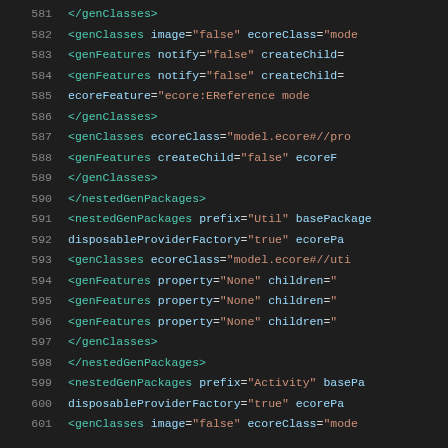Source code listing lines 581-601 showing XML/EMF genmodel configuration
581     </genClasses>
582     <genClasses image="false" ecoreClass="mode
583       <genFeatures notify="false" createChild
584       <genFeatures notify="false" createChild
585           ecoreFeature="ecore:EReference mode
586     </genClasses>
587     <genClasses ecoreClass="model.ecore#//pro
588       <genFeatures createChild="false" ecoreF
589     </genClasses>
590   </nestedGenPackages>
591   <nestedGenPackages prefix="Util" basePackage
592       disposableProviderFactory="true" ecorePa
593     <genClasses ecoreClass="model.ecore#//uti
594       <genFeatures property="None" children="
595       <genFeatures property="None" children="
596       <genFeatures property="None" children="
597     </genClasses>
598   </nestedGenPackages>
599   <nestedGenPackages prefix="Activity" basePa
600       disposableProviderFactory="true" ecorePa
601     <genClasses image="false" ecoreClass="mode